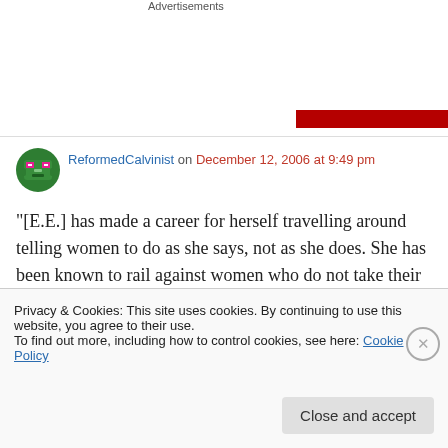Advertisements
[Figure (other): Red advertisement banner bar]
ReformedCalvinist on December 12, 2006 at 9:49 pm
“[E.E.] has made a career for herself travelling around telling women to do as she says, not as she does. She has been known to rail against women who do not take their husbands names,
Privacy & Cookies: This site uses cookies. By continuing to use this website, you agree to their use.
To find out more, including how to control cookies, see here: Cookie Policy
Close and accept